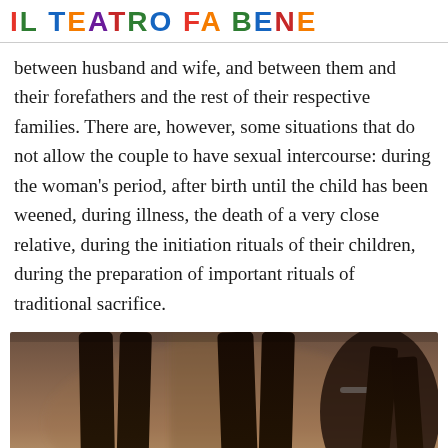IL TEATRO FA BENE
between husband and wife, and between them and their forefathers and the rest of their respective families. There are, however, some situations that do not allow the couple to have sexual intercourse: during the woman's period, after birth until the child has been weened, during illness, the death of a very close relative, during the initiation rituals of their children, during the preparation of important rituals of traditional sacrifice.
[Figure (photo): A photograph showing the lower legs and feet of several dark-skinned individuals standing on sandy ground, with one person appearing to crouch on the right side.]